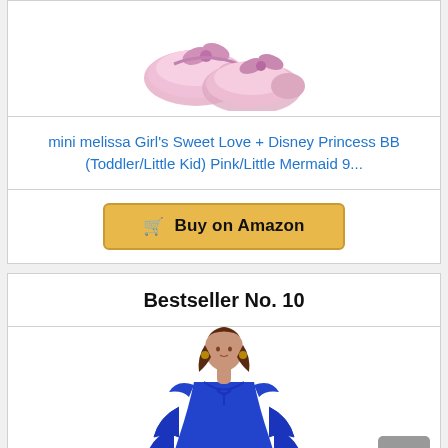[Figure (photo): Pink girls shoes (mini melissa Sweet Love Disney Princess) viewed from above on white background]
mini melissa Girl's Sweet Love + Disney Princess BB (Toddler/Little Kid) Pink/Little Mermaid 9...
Buy on Amazon
Bestseller No. 10
[Figure (photo): Woman wearing a royal blue ruffled dress with tie neckline, shown from waist up]